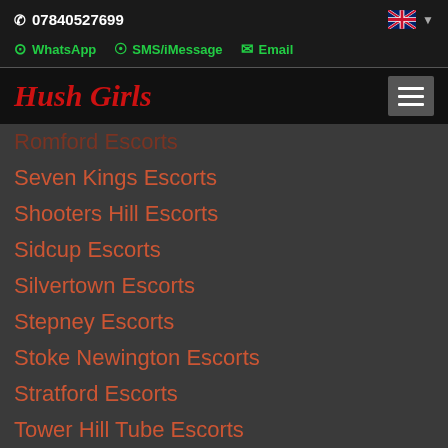07840527699
WhatsApp  SMS/iMessage  Email
Hush Girls
Romford Escorts
Seven Kings Escorts
Shooters Hill Escorts
Sidcup Escorts
Silvertown Escorts
Stepney Escorts
Stoke Newington Escorts
Stratford Escorts
Tower Hill Tube Escorts
Upminster Escorts
Upper Clapton Escorts